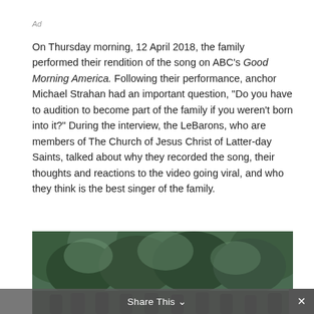Ad
On Thursday morning, 12 April 2018, the family performed their rendition of the song on ABC’s Good Morning America. Following their performance, anchor Michael Strahan had an important question, “Do you have to audition to become part of the family if you weren’t born into it?” During the interview, the LeBarons, who are members of The Church of Jesus Christ of Latter-day Saints, talked about why they recorded the song, their thoughts and reactions to the video going viral, and who they think is the best singer of the family.
[Figure (photo): A group photo of the LeBaron family outdoors in front of lush green trees, partially visible at the bottom of the page.]
Share This